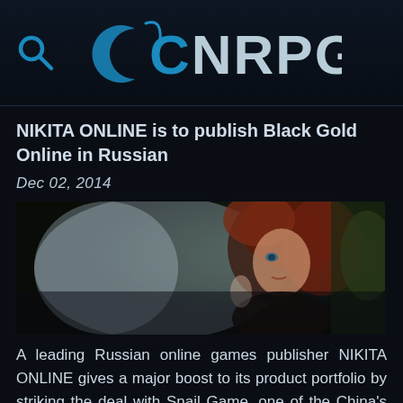[Figure (logo): CNRPG website header with search icon (magnifying glass) on the left and the CNRPG logo in blue/grey on dark background]
NIKITA ONLINE is to publish Black Gold Online in Russian
Dec 02, 2014
[Figure (photo): Fantasy game artwork showing a female character with red/auburn hair in a misty forest environment, from Black Gold Online]
A leading Russian online games publisher NIKITA ONLINE gives a major boost to its product portfolio by striking the deal with Snail Game, one of the China's most